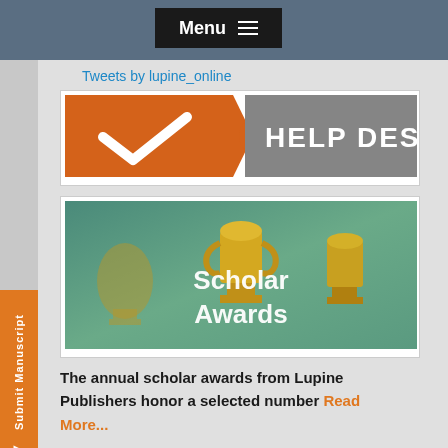Menu
Tweets by lupine_online
[Figure (logo): Help Desk logo with orange puzzle piece containing white checkmark and gray rectangle with HELP DESK text]
[Figure (photo): Scholar Awards banner with gold trophies on teal/green background with white text 'Scholar Awards']
The annual scholar awards from Lupine Publishers honor a selected number Read More...